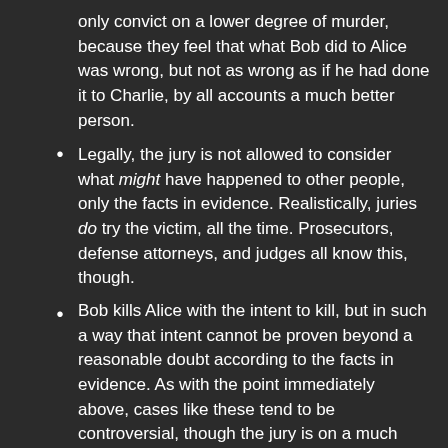only convict on a lower degree of murder, because they feel that what Bob did to Alice was wrong, but not as wrong as if he had done it to Charlie, by all accounts a much better person.
Legally, the jury is not allowed to consider what might have happened to other people, only the facts in evidence. Realistically, juries do try the victim, all the time. Prosecutors, defense attorneys, and judges all know this, though.
Bob kills Alice with the intent to kill, but in such a way that intent cannot be proven beyond a reasonable doubt according to the facts in evidence. As with the point immediately above, cases like these tend to be controversial, though the jury is on a much stronger legal ground.